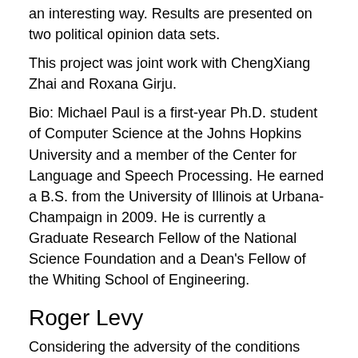an interesting way. Results are presented on two political opinion data sets.
This project was joint work with ChengXiang Zhai and Roxana Girju.
Bio: Michael Paul is a first-year Ph.D. student of Computer Science at the Johns Hopkins University and a member of the Center for Language and Speech Processing. He earned a B.S. from the University of Illinois at Urbana-Champaign in 2009. He is currently a Graduate Research Fellow of the National Science Foundation and a Dean's Fellow of the Whiting School of Engineering.
Roger Levy
Considering the adversity of the conditions under which linguistic communication takes place in everyday life -- ambiguity of the signal, environmental competition for our